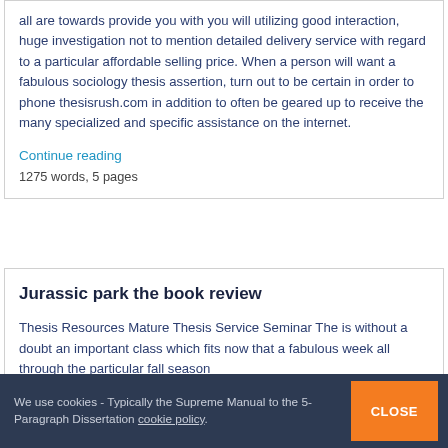all are towards provide you with you will utilizing good interaction, huge investigation not to mention detailed delivery service with regard to a particular affordable selling price. When a person will want a fabulous sociology thesis assertion, turn out to be certain in order to phone thesisrush.com in addition to often be geared up to receive the many specialized and specific assistance on the internet.
Continue reading
1275 words, 5 pages
Jurassic park the book review
Thesis Resources Mature Thesis Service Seminar The is without a doubt an important class which fits now that a fabulous week all through the particular fall season
We use cookies - Typically the Supreme Manual to the 5-Paragraph Dissertation cookie policy